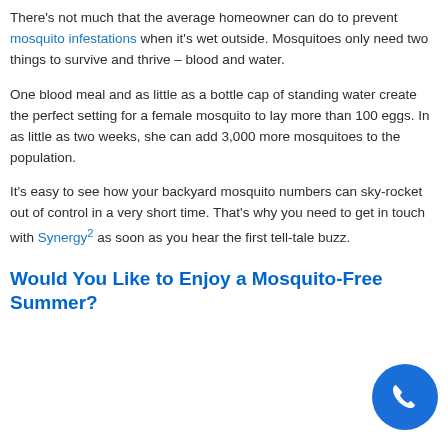There's not much that the average homeowner can do to prevent mosquito infestations when it's wet outside. Mosquitoes only need two things to survive and thrive – blood and water.
One blood meal and as little as a bottle cap of standing water create the perfect setting for a female mosquito to lay more than 100 eggs. In as little as two weeks, she can add 3,000 more mosquitoes to the population.
It's easy to see how your backyard mosquito numbers can sky-rocket out of control in a very short time. That's why you need to get in touch with Synergy² as soon as you hear the first tell-tale buzz.
Would You Like to Enjoy a Mosquito-Free Summer?